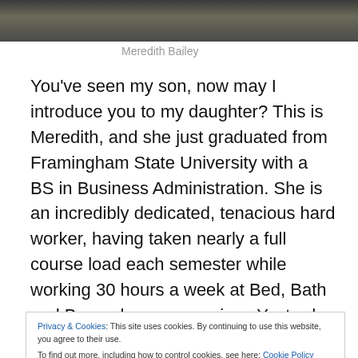[Figure (photo): Cropped photo of a person in graduation regalia, partially visible at top of page]
Meredith Bailey
You've seen my son, now may I introduce you to my daughter? This is Meredith, and she just graduated from Framingham State University with a BS in Business Administration. She is an incredibly dedicated, tenacious hard worker, having taken nearly a full course load each semester while working 30 hours a week at Bed, Bath and Beyond as a supervisor. Yesterday was a day of celebration with both sides of the family and, the most
Privacy & Cookies: This site uses cookies. By continuing to use this website, you agree to their use.
To find out more, including how to control cookies, see here: Cookie Policy
home from the dinner. I felt a little sad and shed a tear or